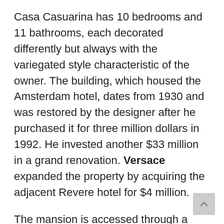Casa Casuarina has 10 bedrooms and 11 bathrooms, each decorated differently but always with the variegated style characteristic of the owner. The building, which housed the Amsterdam hotel, dates from 1930 and was restored by the designer after he purchased it for three million dollars in 1992. He invested another $33 million in a grand renovation. Versace expanded the property by acquiring the adjacent Revere hotel for $4 million.
The mansion is accessed through a Renaissance portico that leads to a huge courtyard with a large fountain and sculptures, surrounded by the various rooms. In one of the outdoor gardens, there is a swimming pool lined with a 24K gold edge and fine Italian mosaic tiles. The centerpiece of this garden